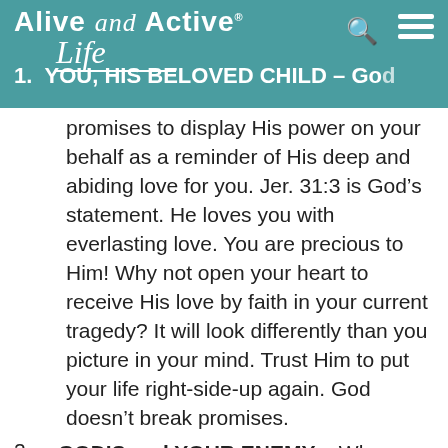Alive and Active Life
YOU, HIS BELOVED CHILD – God promises to display His power on your behalf as a reminder of His deep and abiding love for you. Jer. 31:3 is God's statement. He loves you with everlasting love. You are precious to Him! Why not open your heart to receive His love by faith in your current tragedy? It will look differently than you picture in your mind. Trust Him to put your life right-side-up again. God doesn't break promises.
GOD'S and YOUR ENEMY – When God exercises His immense strength as He intervenes for you, He makes a strong statement to your enemy. Is. 41:9-11 declares that it makes it very clear to...